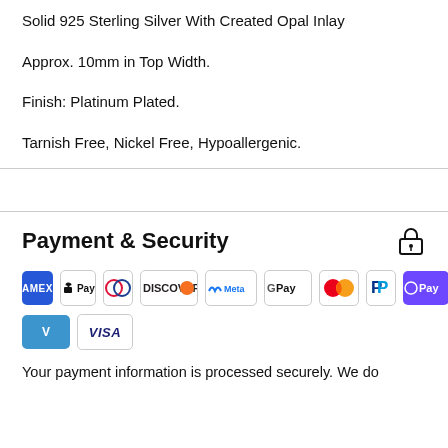Solid 925 Sterling Silver With Created Opal Inlay
Approx. 10mm in Top Width.
Finish: Platinum Plated.
Tarnish Free, Nickel Free, Hypoallergenic.
Payment & Security
[Figure (other): Payment method icons: American Express, Apple Pay, Diners Club, Discover, Meta Pay, Google Pay, Mastercard, PayPal, OPay, Venmo, Visa]
Your payment information is processed securely. We do